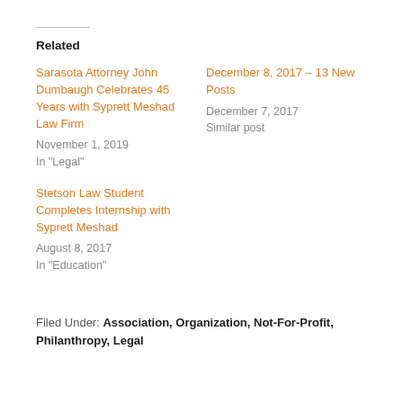Related
Sarasota Attorney John Dumbaugh Celebrates 45 Years with Syprett Meshad Law Firm
November 1, 2019
In "Legal"
December 8, 2017 – 13 New Posts
December 7, 2017
Similar post
Stetson Law Student Completes Internship with Syprett Meshad
August 8, 2017
In "Education"
Filed Under: Association, Organization, Not-For-Profit, Philanthropy, Legal